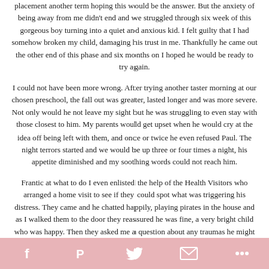placement another term hoping this would be the answer. But the anxiety of being away from me didn't end and we struggled through six week of this gorgeous boy turning into a quiet and anxious kid. I felt guilty that I had somehow broken my child, damaging his trust in me. Thankfully he came out the other end of this phase and six months on I hoped he would be ready to try again.
I could not have been more wrong. After trying another taster morning at our chosen preschool, the fall out was greater, lasted longer and was more severe. Not only would he not leave my sight but he was struggling to even stay with those closest to him. My parents would get upset when he would cry at the idea off being left with them, and once or twice he even refused Paul. The night terrors started and we would be up three or four times a night, his appetite diminished and my soothing words could not reach him.
Frantic at what to do I even enlisted the help of the Health Visitors who arranged a home visit to see if they could spot what was triggering his distress. They came and he chatted happily, playing pirates in the house and as I walked them to the door they reassured he was fine, a very bright child who was happy. Then they asked me a question about any traumas he might have suffered when younger, or any sudden change to his routine. They went home before me d. At the end of 2013 I had suffered...